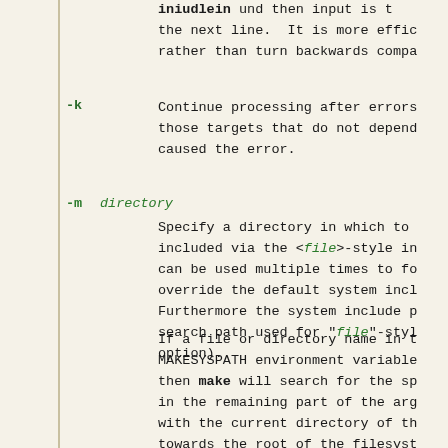... and then input is the next line. It is more effic rather than turn backwards compa
-k   Continue processing after errors those targets that do not depend caused the error.
-m directory   Specify a directory in which to included via the <file>-style in can be used multiple times to fo override the default system incl Furthermore the system include p search path used for "file"-styl option).
If a file or directory name in t MAKESYSPATH environment variable then make will search for the sp in the remaining part of the arg with the current directory of th towards the root of the filesyst then the resulting directory rep the -m argument. If used, this search in the current source tre (e.g. by using "./mk/sys.mk"